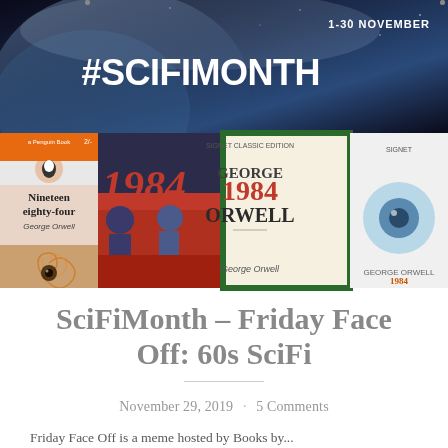[Figure (photo): SciFiMonth banner at top showing space image with text '1-30 NOVEMBER #SCIFIMONTH', beneath which are four book covers of George Orwell's '1984' in different editions: a comic-style red cover, a green-bordered edition, a minimalist eye cover, and a Penguin Books orange cover titled 'Nineteen eighty-four'.]
SciFiMonth – Friday Face Off: 60s SciFi
November 29, 2019 · 5 Comments
Friday Face Off is a meme hosted by Books by...